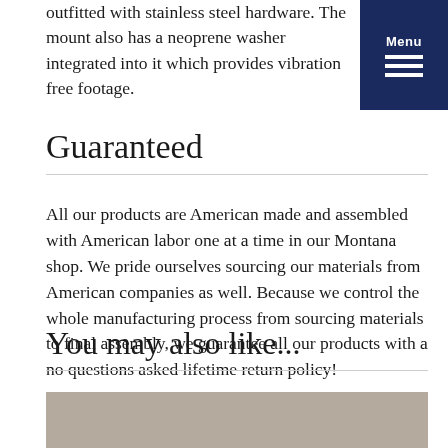outfitted with stainless steel hardware. The mount also has a neoprene washer integrated into it which provides vibration free footage.
Guaranteed
All our products are American made and assembled with American labor one at a time in our Montana shop. We pride ourselves sourcing our materials from American companies as well. Because we control the whole manufacturing process from sourcing materials to final assembly, we guarantee all our products with a no questions asked lifetime return policy!
You may also like...
[Figure (photo): Partial view of a product image with a tan/beige background color, cropped at the bottom of the page.]